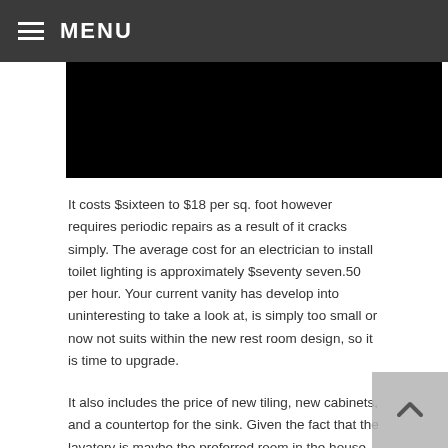≡ MENU
[Figure (photo): Black rectangle image area]
It costs $sixteen to $18 per sq. foot however requires periodic repairs as a result of it cracks simply. The average cost for an electrician to install toilet lighting is approximately $seventy seven.50 per hour. Your current vanity has develop into uninteresting to take a look at, is simply too small or now not suits within the new rest room design, so it is time to upgrade.
It also includes the price of new tiling, new cabinets, and a countertop for the sink. Given the fact that the lavatory is maybe the preferred room in the house, maintaining with loos trends is a must. The cost of dismantling the outdated bathtub is $a hundred and fifty, reconnecting the system is $300, and completing the transforming in the bathtub area